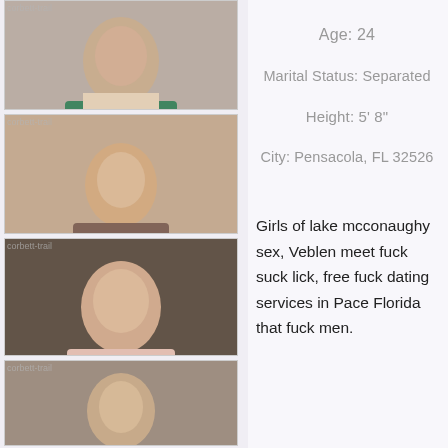[Figure (photo): Photo 1: woman in colorful outfit, watermarked]
[Figure (photo): Photo 2: woman posing, watermarked]
[Figure (photo): Photo 3: woman in lingerie, watermarked]
[Figure (photo): Photo 4: woman posing, watermarked]
Age: 24
Marital Status: Separated
Height: 5' 8"
City: Pensacola, FL 32526
Girls of lake mcconaughy sex, Veblen meet fuck suck lick, free fuck dating services in Pace Florida that fuck men.